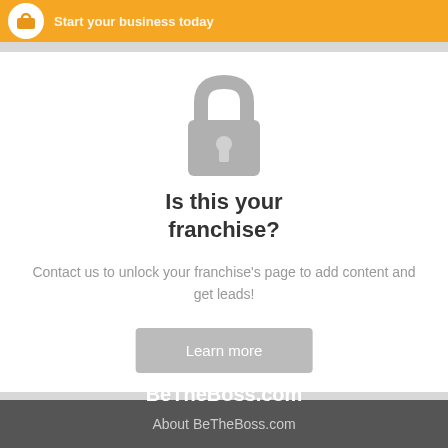Start your business today
[Figure (illustration): Grey padlock icon centered on white background]
Is this your franchise?
Contact us to unlock your franchise's page to add content and get leads!
Learn more
BeTheBoss.com
About BeTheBoss.com